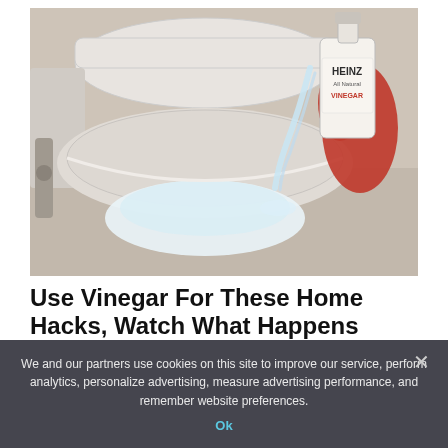[Figure (photo): A gloved hand pouring Heinz vinegar from a bottle into a toilet bowl, with water streaming in.]
Use Vinegar For These Home Hacks, Watch What Happens
We and our partners use cookies on this site to improve our service, perform analytics, personalize advertising, measure advertising performance, and remember website preferences.
Ok